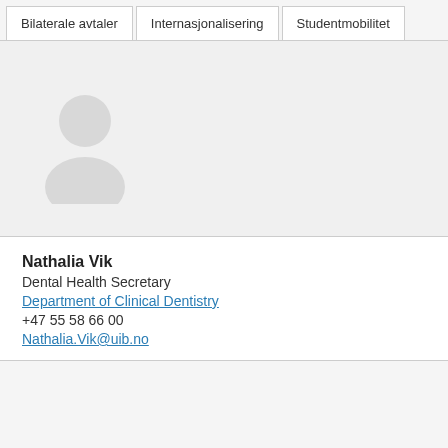Bilaterale avtaler | Internasjonalisering | Studentmobilitet
[Figure (illustration): Generic user avatar placeholder silhouette in light grey, showing head and shoulders]
Nathalia Vik
Dental Health Secretary
Department of Clinical Dentistry
+47 55 58 66 00
Nathalia.Vik@uib.no